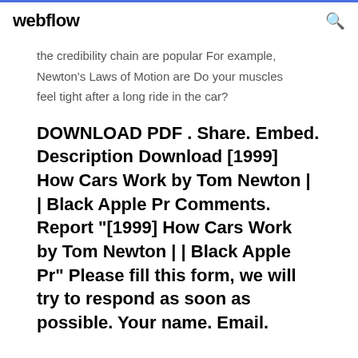webflow
the credibility chain are popular For example, Newton's Laws of Motion are Do your muscles feel tight after a long ride in the car?
DOWNLOAD PDF . Share. Embed. Description Download [1999] How Cars Work by Tom Newton | | Black Apple Pr Comments. Report "[1999] How Cars Work by Tom Newton | | Black Apple Pr" Please fill this form, we will try to respond as soon as possible. Your name. Email.